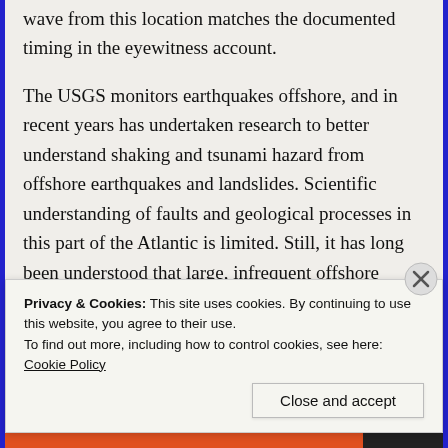wave from this location matches the documented timing in the eyewitness account.

The USGS monitors earthquakes offshore, and in recent years has undertaken research to better understand shaking and tsunami hazard from offshore earthquakes and landslides. Scientific understanding of faults and geological processes in this part of the Atlantic is limited. Still, it has long been understood that large, infrequent offshore earthquakes may pose a tsunami hazard to the Atlantic coast. In 1978, a magnitude-6
Privacy & Cookies: This site uses cookies. By continuing to use this website, you agree to their use.
To find out more, including how to control cookies, see here: Cookie Policy
Close and accept